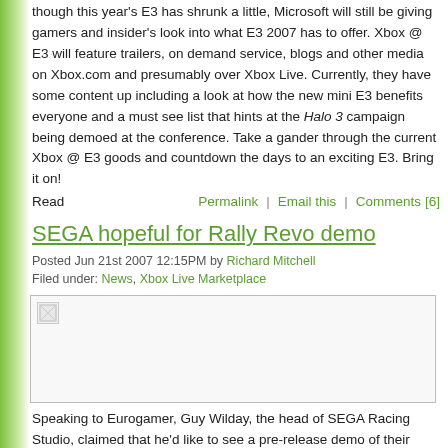though this year's E3 has shrunk a little, Microsoft will still be giving gamers and insider's look into what E3 2007 has to offer. Xbox @ E3 will feature trailers, on demand service, blogs and other media on Xbox.com and presumably over Xbox Live. Currently, they have some content up including a look at how the new mini E3 benefits everyone and a must see list that hints at the Halo 3 campaign being demoed at the conference. Take a gander through the current Xbox @ E3 goods and countdown the days to an exciting E3. Bring it on!
Read | Permalink | Email this | Comments [6]
SEGA hopeful for Rally Revo demo
Posted Jun 21st 2007 12:15PM by Richard Mitchell
Filed under: News, Xbox Live Marketplace
[Figure (photo): Broken image placeholder for SEGA Rally Revo article]
Speaking to Eurogamer, Guy Wilday, the head of SEGA Racing Studio, claimed that he'd like to see a pre-release demo of their upcoming title, SEGA Rally Revo, which is set to debut in September. Wilday noted that the team will "look to do potentially 360 and PS3 downloadable demos before release."